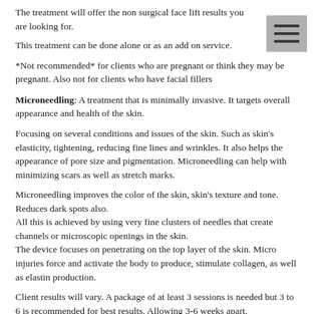The treatment will offer the non surgical face lift results you are looking for.
This treatment can be done alone or as an add on service.
*Not recommended* for clients who are pregnant or think they may be pregnant. Also not for clients who have facial fillers
Microneedling: A treatment that is minimally invasive. It targets overall appearance and health of the skin.
Focusing on several conditions and issues of the skin. Such as skin's elasticity, tightening, reducing fine lines and wrinkles. It also helps the appearance of pore size and pigmentation. Microneedling can help with minimizing scars as well as stretch marks.
Microneedling improves the color of the skin, skin's texture and tone. Reduces dark spots also.
All this is achieved by using very fine clusters of needles that create channels or microscopic openings in the skin.
The device focuses on penetrating on the top layer of the skin. Micro injuries force and activate the body to produce, stimulate collagen, as well as elastin production.
Client results will vary. A package of at least 3 sessions is needed but 3 to 6 is recommended for best results. Allowing 3-6 weeks apart.
Dermaplaning: A non invasive, deep exfoliating service, a treatment, and